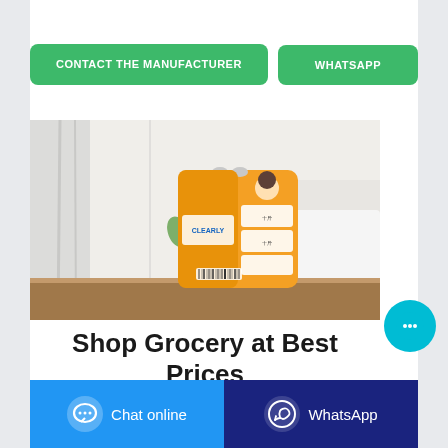CONTACT THE MANUFACTURER
WHATSAPP
[Figure (photo): An orange large bag of laundry detergent (Clearly brand) sitting on a wooden table with white curtains and a wall in the background. The bag has white label sections and a cartoon character.]
Shop Grocery at Best Prices
Chat online
WhatsApp